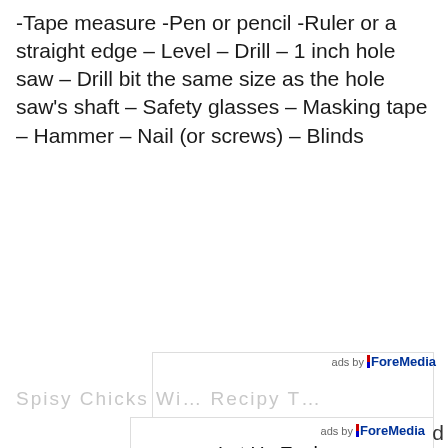-Tape measure -Pen or pencil -Ruler or a straight edge – Level – Drill – 1 inch hole saw – Drill bit the same size as the hole saw's shaft – Safety glasses – Masking tape – Hammer – Nail (or screws) – Blinds
[Figure (screenshot): Advertisement box with 'ads by ForeMedia' label at top right, content area blank (ad placeholder)]
[Figure (screenshot): Second advertisement box with 'ads by ForeMedia' label and text 'Let Us Explore Some Planner Notebook And Moti...' partially visible]